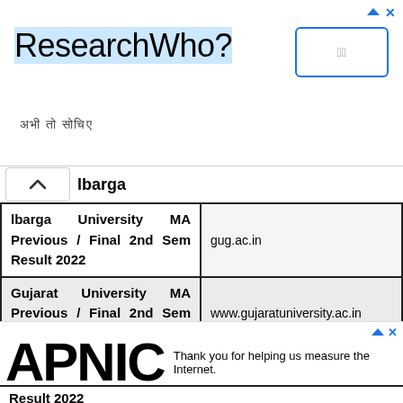[Figure (screenshot): Top advertisement banner with 'ResearchWho?' heading and Hindi subtitle text, with a button on the right]
| lbarga University MA Previous / Final 2nd Sem Result 2022 | gug.ac.in |
| Gujarat University MA Previous / Final 2nd Sem Result 2022 | www.gujaratuniversity.ac.in |
| Gorakhpur Result 2022 |  |
[Figure (screenshot): Bottom advertisement banner with APNIC logo and text 'Thank you for helping us measure the Internet.']